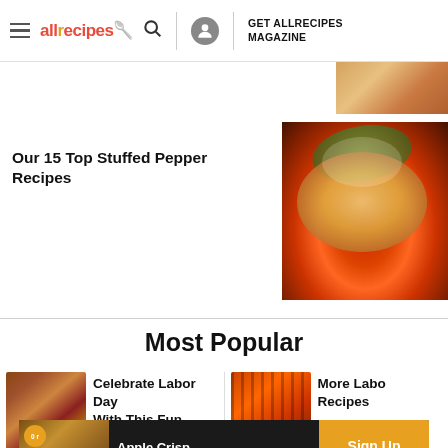allrecipes | GET ALLRECIPES MAGAZINE
[Figure (photo): Partial food photo cropped at top right]
Our 15 Top Stuffed Pepper Recipes
[Figure (photo): Photo of a red stuffed pepper with meat, cheese and parsley garnish]
Most Popular
[Figure (photo): Photo of grilled meat/bacon dish]
Celebrate Labor Day With This Fun Menu
[Figure (photo): Photo of grilled chicken or ribs]
More Labor Day Recipes
[Figure (photo): Advertisement banner: Apple Crisp - Sign Up & Save It with star rating]